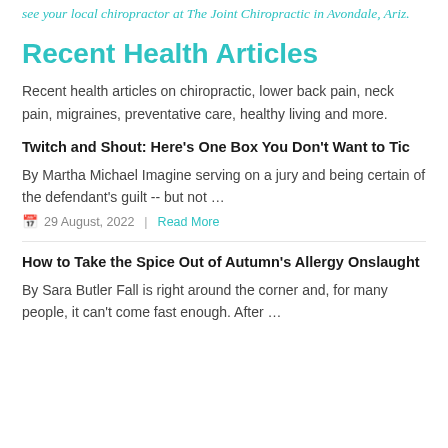see your local chiropractor at The Joint Chiropractic in Avondale, Ariz.
Recent Health Articles
Recent health articles on chiropractic, lower back pain, neck pain, migraines, preventative care, healthy living and more.
Twitch and Shout: Here's One Box You Don't Want to Tic
By Martha Michael Imagine serving on a jury and being certain of the defendant's guilt -- but not ...
📅 29 August, 2022  |  Read More
How to Take the Spice Out of Autumn's Allergy Onslaught
By Sara Butler Fall is right around the corner and, for many people, it can't come fast enough. After ...